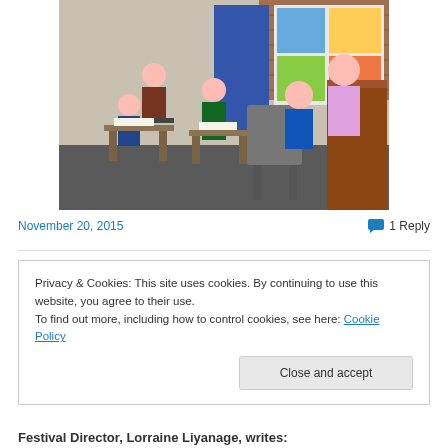[Figure (photo): Classroom scene with children seated at desks and a teacher or adult figure at a wooden podium/desk. Educational posters and a blue display board visible in background.]
November 20, 2015
1 Reply
Privacy & Cookies: This site uses cookies. By continuing to use this website, you agree to their use.
To find out more, including how to control cookies, see here: Cookie Policy
Close and accept
Festival Director, Lorraine Liyanage, writes: